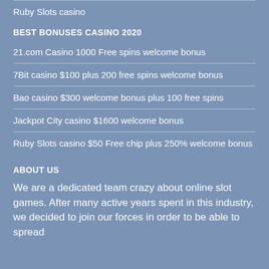Ruby Slots casino
BEST BONUSES CASINO 2020
21.com Casino 1000 Free spins welcome bonus
7Bit casino $100 plus 200 free spins welcome bonus
Bao casino $300 welcome bonus plus 100 free spins
Jackpot City casino $1600 welcome bonus
Ruby Slots casino $50 Free chip plus 250% welcome bonus
ABOUT US
We are a dedicated team crazy about online slot games. After many active years spent in this industry, we decided to join our forces in order to be able to spread